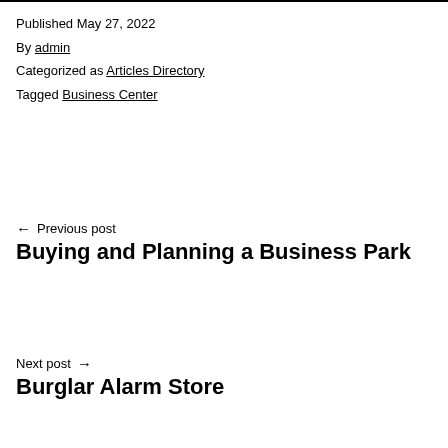Published May 27, 2022
By admin
Categorized as Articles Directory
Tagged Business Center
← Previous post
Buying and Planning a Business Park
Next post →
Burglar Alarm Store